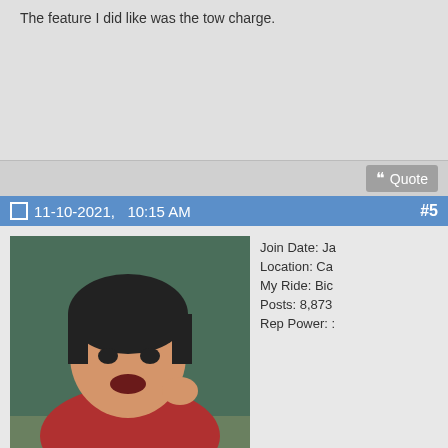The feature I did like was the tow charge.
Quote
11-10-2021,   10:15 AM   #5
[Figure (photo): Avatar photo of user Xtrema showing a person with dark hair making an expressive face]
Join Date: Ja
Location: Ca
My Ride: Bic
Posts: 8,873
Rep Power: :
Xtrema
Registered User
Originally Posted by nzwasp
The rivians didnt do too well in terms of range when it was very cold either atleast when it was on that tv show last year. If you havent watched it https://en.wikipedia.org/wiki/Long_Way_Up I